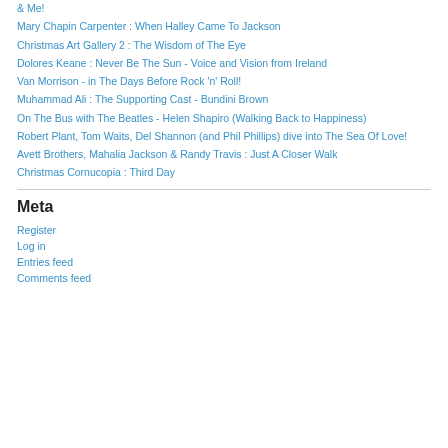& Me!
Mary Chapin Carpenter : When Halley Came To Jackson
Christmas Art Gallery 2 : The Wisdom of The Eye
Dolores Keane : Never Be The Sun - Voice and Vision from Ireland
Van Morrison - in The Days Before Rock 'n' Roll!
Muhammad Ali : The Supporting Cast - Bundini Brown
On The Bus with The Beatles - Helen Shapiro (Walking Back to Happiness)
Robert Plant, Tom Waits, Del Shannon (and Phil Phillips) dive into The Sea Of Love!
Avett Brothers, Mahalia Jackson & Randy Travis : Just A Closer Walk
Christmas Cornucopia : Third Day
Meta
Register
Log in
Entries feed
Comments feed